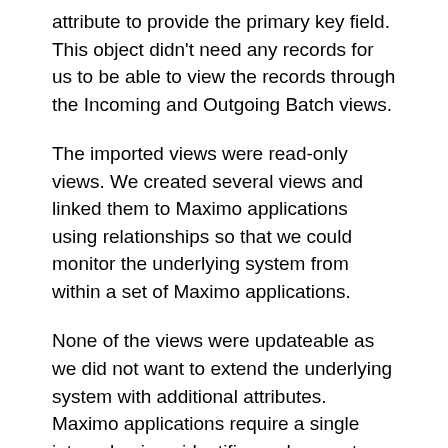attribute to provide the primary key field. This object didn't need any records for us to be able to view the records through the Incoming and Outgoing Batch views.
The imported views were read-only views. We created several views and linked them to Maximo applications using relationships so that we could monitor the underlying system from within a set of Maximo applications.
None of the views were updateable as we did not want to extend the underlying system with additional attributes. Maximo applications require a single internal unique identifier and a rowstamp attribute for the application to support insert, update and delete